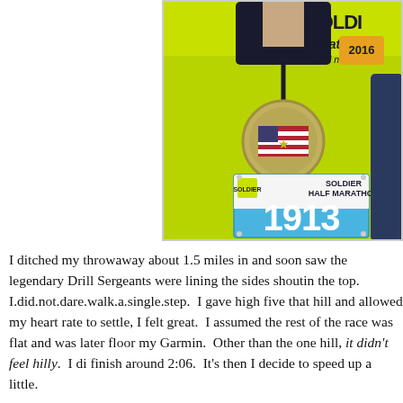[Figure (photo): Person wearing a neon yellow shirt displaying a Soldier Half Marathon race bib numbered 1913 and a medal. The bib reads 'SOLDIER HALF MARATHON 1913'. Above is visible 'SOLDIER marathon & half mar...' text and logo.]
I ditched my throwaway about 1.5 miles in and soon saw the legendary Drill Sergeants were lining the sides shouting the top.  I.did.not.dare.walk.a.single.step.  I gave high five that hill and allowed my heart rate to settle, I felt great.  I assumed the rest of the race was flat and was later floore my Garmin.  Other than the one hill, it didn't feel hilly.  I di finish around 2:06.  It's then I decide to speed up a little.